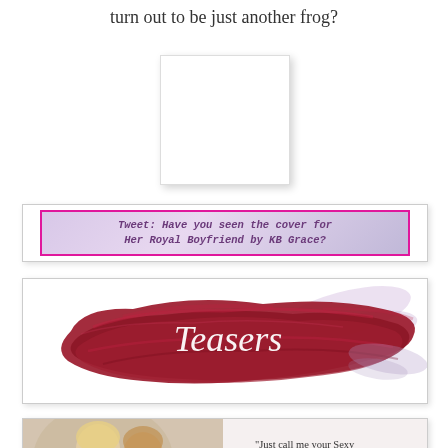turn out to be just another frog?
[Figure (photo): White book cover image placeholder with drop shadow]
[Figure (screenshot): Tweet screenshot: 'Tweet: Have you seen the cover for Her Royal Boyfriend by KB Grace?' with pink border and purple gradient background]
[Figure (illustration): Teasers graphic: cursive script 'Teasers' on red brushstroke background]
[Figure (photo): Photo of two women with text: 'Just call me your Sexy Godmother!' Winnie squealed as she clapped her hands. 'Winnie?' I asked,]